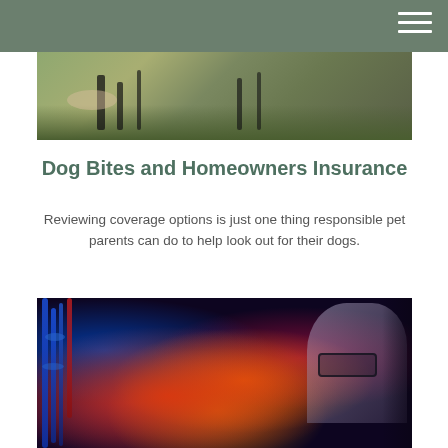[Figure (photo): Photo of a person and a dog near a bicycle on grass, partially visible at the top of the page]
Dog Bites and Homeowners Insurance
Reviewing coverage options is just one thing responsible pet parents can do to help look out for their dogs.
[Figure (photo): Photo of a person wearing glasses looking at colorful cable server equipment with blue, red, and orange cables and bokeh lights]